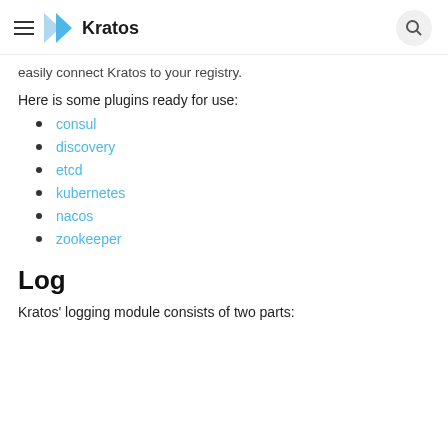Kratos
easily connect Kratos to your registry.
Here is some plugins ready for use:
consul
discovery
etcd
kubernetes
nacos
zookeeper
Log
Kratos' logging module consists of two parts: